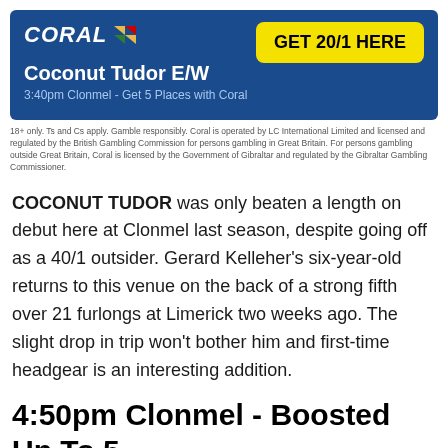[Figure (logo): Coral bookmaker promotional banner with logo, GET 20/1 HERE button, horse name Coconut Tudor E/W, and race info 3:40pm Clonmel - Get 5 Places with Coral]
18+ only. Ts and Cs apply. Gamble responsibly. Coral is operated by LC International Limited and licensed and regulated by the British Gambling Commission for persons gambling in Great Britain. For persons gambling outside Great Britain, Coral is licensed by the Government of Gibraltar and regulated by the Gibraltar Gambling Commissioner.
COCONUT TUDOR was only beaten a length on debut here at Clonmel last season, despite going off as a 40/1 outsider. Gerard Kelleher's six-year-old returns to this venue on the back of a strong fifth over 21 furlongs at Limerick two weeks ago. The slight drop in trip won't bother him and first-time headgear is an interesting addition.
4:50pm Clonmel - Boosted Up To 5